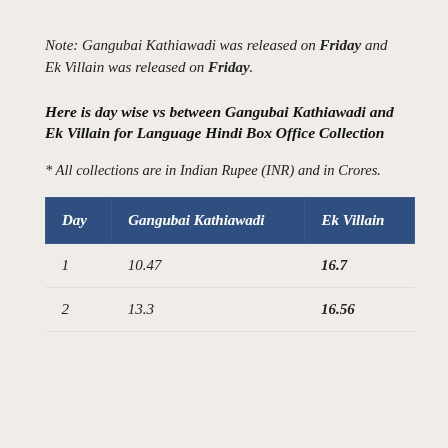Note: Gangubai Kathiawadi was released on Friday and Ek Villain was released on Friday.
Here is day wise vs between Gangubai Kathiawadi and Ek Villain for Language Hindi Box Office Collection
* All collections are in Indian Rupee (INR) and in Crores.
| Day | Gangubai Kathiawadi | Ek Villain |
| --- | --- | --- |
| 1 | 10.47 | 16.7 |
| 2 | 13.3 | 16.56 |